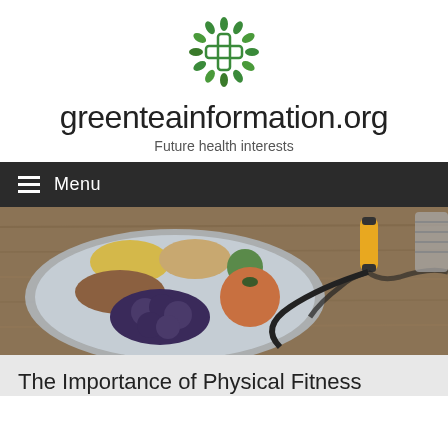[Figure (logo): Green tea leaf circle logo / cross emblem in green]
greenteainformation.org
Future health interests
≡ Menu
[Figure (photo): A plate with various grains, chickpeas, grapes, and an apple alongside fitness equipment including a jump rope and hand grippers on a wooden surface]
The Importance of Physical Fitness